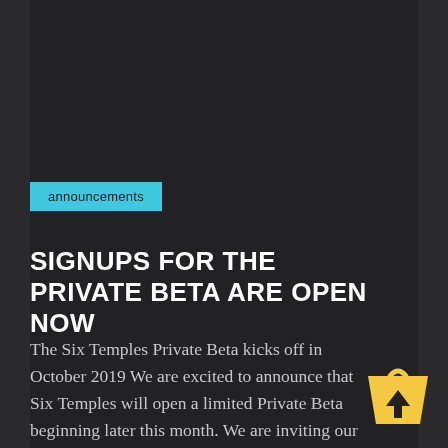announcements
SIGNUPS FOR THE PRIVATE BETA ARE OPEN NOW
The Six Temples Private Beta kicks off in October 2019 We are excited to announce that Six Temples will open a limited Private Beta beginning later this month. We are inviting our first group of Beta Testers to experience Six Temples